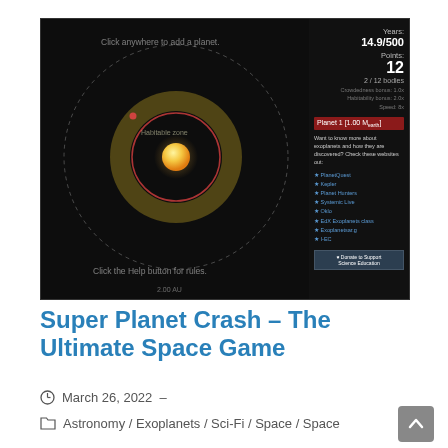[Figure (screenshot): Screenshot of Super Planet Crash web game showing a solar system simulator with a dark background, a central yellow star, concentric rings including a golden habitable zone ring, a red planet orbit, a small red planet dot, and a right-side panel showing game stats: Years: 14.9/500, Points: 12, 2/12 bodies, with links to exoplanet websites.]
Super Planet Crash – The Ultimate Space Game
March 26, 2022  –
Astronomy / Exoplanets / Sci-Fi / Space / Space